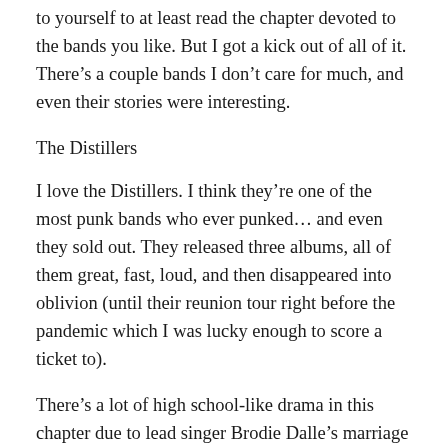to yourself to at least read the chapter devoted to the bands you like. But I got a kick out of all of it. There's a couple bands I don't care for much, and even their stories were interesting.
The Distillers
I love the Distillers. I think they're one of the most punk bands who ever punked... and even they sold out. They released three albums, all of them great, fast, loud, and then disappeared into oblivion (until their reunion tour right before the pandemic which I was lucky enough to score a ticket to).
There's a lot of high school-like drama in this chapter due to lead singer Brodie Dalle's marriage to punk rock icon, Tim Armstrong. There's a divorce and it gets sloppy. I don't like that a lot of punk fans felt like they